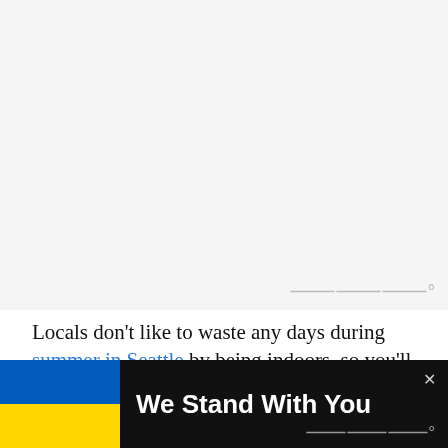[Figure (photo): Blank/placeholder image area with a watermark logo at lower right]
Locals don't like to waste any days during summer in Seattle by being indoors, so you'll see multiple outdoor cinemas to catch a movie at. Westlake Park and Ma...
[Figure (infographic): We Stand With You banner with Ukrainian flag colors (blue and yellow) and an X close button, dark background]